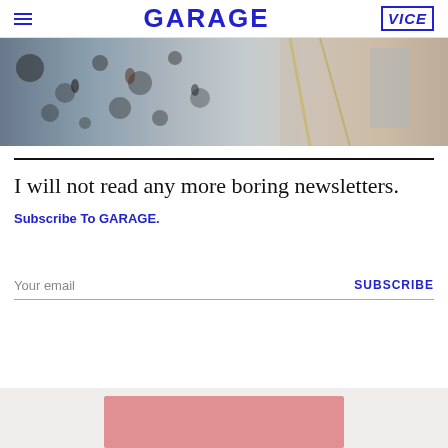GARAGE | VICE
[Figure (photo): Wide banner photo showing an art installation with hanging circular objects and colorful artwork in the background]
I will not read any more boring newsletters.
Subscribe To GARAGE.
Your email
SUBSCRIBE
[Figure (photo): Bottom section showing a pink rectangular card on a light gray background]